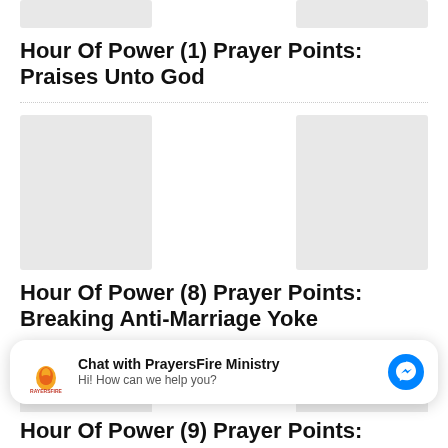[Figure (other): Three image placeholders in a row (partial, clipped at top)]
Hour Of Power (1) Prayer Points: Praises Unto God
[Figure (other): Three image placeholders in a row, tall]
Hour Of Power (8) Prayer Points: Breaking Anti-Marriage Yoke
[Figure (other): Three image placeholders in a row, partial at bottom]
Chat with PrayersFire Ministry
Hi! How can we help you?
Hour Of Power (9) Prayer Points: